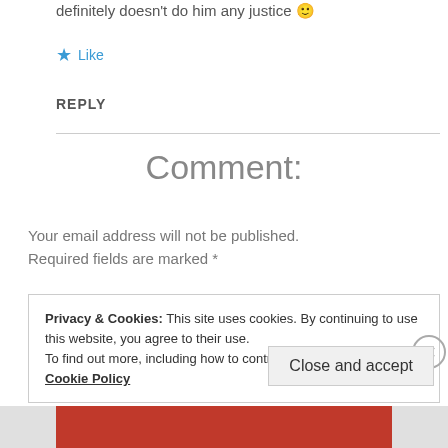definitely doesn't do him any justice 🙂
★ Like
REPLY
Comment:
Your email address will not be published. Required fields are marked *
Privacy & Cookies: This site uses cookies. By continuing to use this website, you agree to their use.
To find out more, including how to control cookies, see here:
Cookie Policy
Close and accept